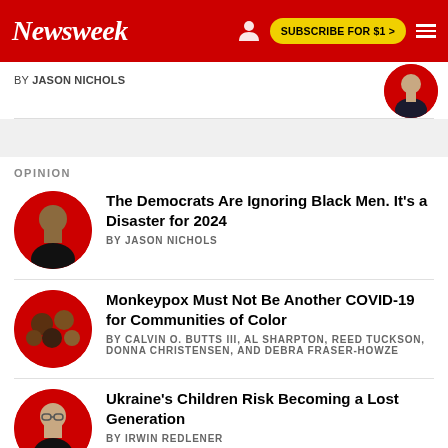Newsweek | SUBSCRIBE FOR $1 >
BY JASON NICHOLS
OPINION
The Democrats Are Ignoring Black Men. It's a Disaster for 2024
BY JASON NICHOLS
Monkeypox Must Not Be Another COVID-19 for Communities of Color
BY CALVIN O. BUTTS III, AL SHARPTON, REED TUCKSON, DONNA CHRISTENSEN, AND DEBRA FRASER-HOWZE
Ukraine's Children Risk Becoming a Lost Generation
BY IRWIN REDLENER